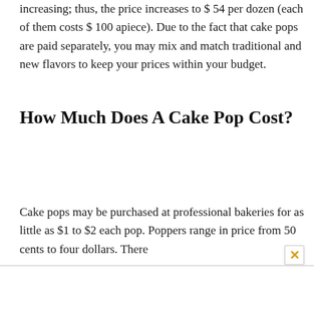increasing; thus, the price increases to $ 54 per dozen (each of them costs $ 100 apiece). Due to the fact that cake pops are paid separately, you may mix and match traditional and new flavors to keep your prices within your budget.
How Much Does A Cake Pop Cost?
Cake pops may be purchased at professional bakeries for as little as $1 to $2 each pop. Poppers range in price from 50 cents to four dollars. There